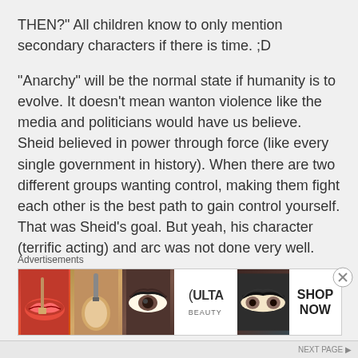THEN?" All children know to only mention secondary characters if there is time. ;D
“Anarchy” will be the normal state if humanity is to evolve. It doesn’t mean wanton violence like the media and politicians would have us believe. Sheid believed in power through force (like every single government in history). When there are two different groups wanting control, making them fight each other is the best path to gain control yourself. That was Sheid’s goal. But yeah, his character (terrific acting) and arc was not done very well.
I found the transcendence to be beautiful. We
Advertisements
[Figure (other): ULTA Beauty advertisement banner showing five panels: red lips with makeup brush, powder brush, eye with eyebrow, ULTA logo on white background, dramatic eye makeup, and SHOP NOW text on white background.]